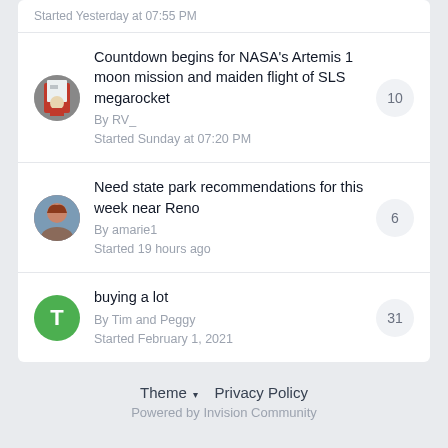Started Yesterday at 07:55 PM
Countdown begins for NASA's Artemis 1 moon mission and maiden flight of SLS megarocket
By RV_
Started Sunday at 07:20 PM
10 replies
Need state park recommendations for this week near Reno
By amarie1
Started 19 hours ago
6 replies
buying a lot
By Tim and Peggy
Started February 1, 2021
31 replies
Theme ▾   Privacy Policy
Powered by Invision Community